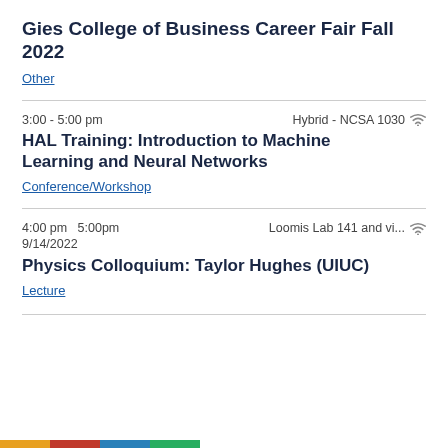Gies College of Business Career Fair Fall 2022
Other
3:00 - 5:00 pm    Hybrid - NCSA 1030
HAL Training: Introduction to Machine Learning and Neural Networks
Conference/Workshop
4:00 pm  5:00pm    Loomis Lab 141 and vi...
9/14/2022
Physics Colloquium: Taylor Hughes (UIUC)
Lecture